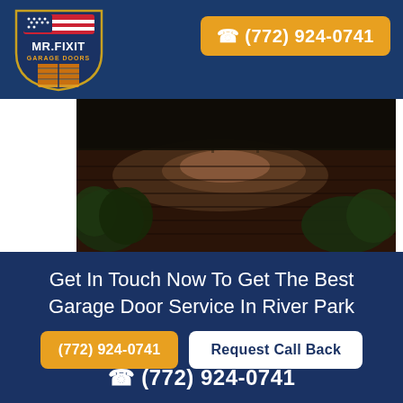[Figure (logo): Mr. Fix It Garage Doors shield logo with American flag at top]
✆ (772) 924-0741
[Figure (photo): Night-time photo of flooded driveway/brick area with plants visible]
Get In Touch Now To Get The Best Garage Door Service In River Park
(772) 924-0741
Request Call Back
✆ (772) 924-0741